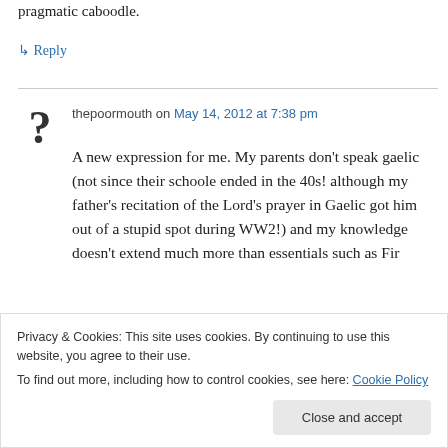pragmatic caboodle.
↳ Reply
thepoormouth on May 14, 2012 at 7:38 pm
A new expression for me. My parents don't speak gaelic (not since their schoole ended in the 40s! although my father's recitation of the Lord's prayer in Gaelic got him out of a stupid spot during WW2!) and my knowledge doesn't extend much more than essentials such as Fir
Privacy & Cookies: This site uses cookies. By continuing to use this website, you agree to their use.
To find out more, including how to control cookies, see here: Cookie Policy